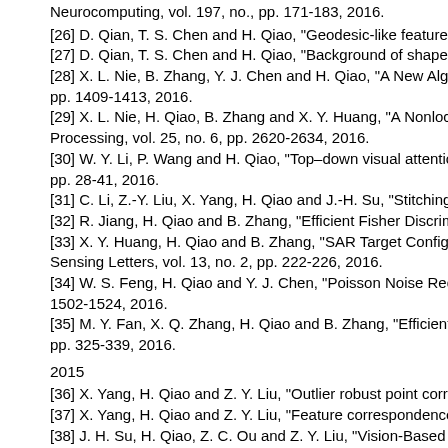Neurocomputing, vol. 197, no., pp. 171-183, 2016.
[26] D. Qian, T. S. Chen and H. Qiao, "Geodesic-like features for point matching,
[27] D. Qian, T. S. Chen and H. Qiao, "Background of shape contexts for point m...
[28] X. L. Nie, B. Zhang, Y. J. Chen and H. Qiao, "A New Algorithm for Optimizing... pp. 1409-1413, 2016.
[29] X. L. Nie, H. Qiao, B. Zhang and X. Y. Huang, "A Nonlocal TV-Based Variatio... Processing, vol. 25, no. 6, pp. 2620-2634, 2016.
[30] W. Y. Li, P. Wang and H. Qiao, "Top–down visual attention integrated particle... pp. 28-41, 2016.
[31] C. Li, Z.-Y. Liu, X. Yang, H. Qiao and J.-H. Su, "Stitching contaminated imago...
[32] R. Jiang, H. Qiao and B. Zhang, "Efficient Fisher Discrimination Dictionary L...
[33] X. Y. Huang, H. Qiao and B. Zhang, "SAR Target Configuration Recognition R... Sensing Letters, vol. 13, no. 2, pp. 222-226, 2016.
[34] W. S. Feng, H. Qiao and Y. J. Chen, "Poisson Noise Reduction with Higher-O... 1502-1524, 2016.
[35] M. Y. Fan, X. Q. Zhang, H. Qiao and B. Zhang, "Efficient isometric multi-man... pp. 325-339, 2016.
2015
[36] X. Yang, H. Qiao and Z. Y. Liu, "Outlier robust point correspondence based o...
[37] X. Yang, H. Qiao and Z. Y. Liu, "Feature correspondence based on directed s...
[38] J. H. Su, H. Qiao, Z. C. Ou and Z. Y. Liu, "Vision-Based Caging Grasps of Po... Automation Science and Engineering, vol. 12, no. 3, pp. 1033-1046, 2015.
[39] J. H. Su, Z. C. Ou and H. Qiao, "Form-closure caging grasps of polygons wit...